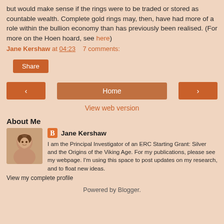but would make sense if the rings were to be traded or stored as countable wealth. Complete gold rings may, then, have had more of a role within the bullion economy than has previously been realised. (For more on the Hoen hoard, see here)
Jane Kershaw at 04:23   7 comments:
[Figure (other): Share button (orange rectangle)]
[Figure (other): Navigation row with left arrow button, Home button, and right arrow button]
View web version
About Me
[Figure (photo): Profile photo of Jane Kershaw, a woman with dark blonde hair smiling]
Jane Kershaw
I am the Principal Investigator of an ERC Starting Grant: Silver and the Origins of the Viking Age. For my publications, please see my webpage. I'm using this space to post updates on my research, and to float new ideas.
View my complete profile
Powered by Blogger.